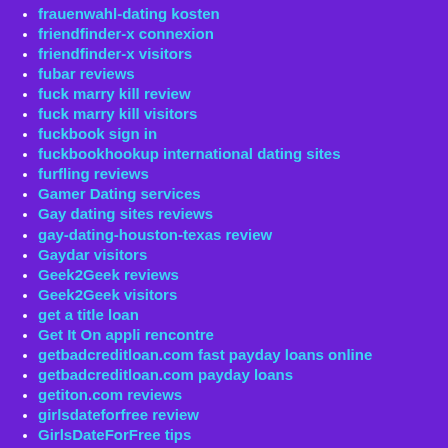frauenwahl-dating kosten
friendfinder-x connexion
friendfinder-x visitors
fubar reviews
fuck marry kill review
fuck marry kill visitors
fuckbook sign in
fuckbookhookup international dating sites
furfling reviews
Gamer Dating services
Gay dating sites reviews
gay-dating-houston-texas review
Gaydar visitors
Geek2Geek reviews
Geek2Geek visitors
get a title loan
Get It On appli rencontre
getbadcreditloan.com fast payday loans online
getbadcreditloan.com payday loans
getiton.com reviews
girlsdateforfree review
GirlsDateForFree tips